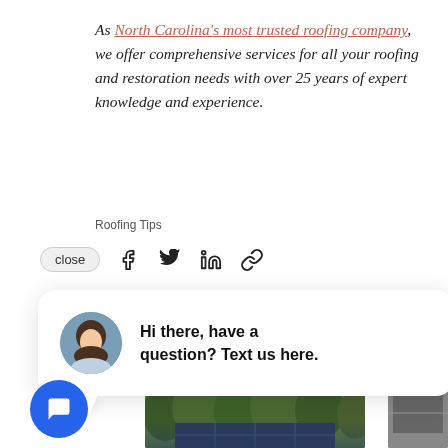As North Carolina's most trusted roofing company, we offer comprehensive services for all your roofing and restoration needs with over 25 years of expert knowledge and experience.
Roofing Tips
[Figure (screenshot): Share bar with close button and social media icons: Facebook, Twitter, LinkedIn, link]
[Figure (screenshot): Chat bubble overlay with female avatar photo, text: Hi there, have a question? Text us here.]
Recent Posts
See All
[Figure (photo): Thumbnail photo of solar panels on a roof with trees in background]
[Figure (photo): Partial thumbnail of roofing photo on right edge]